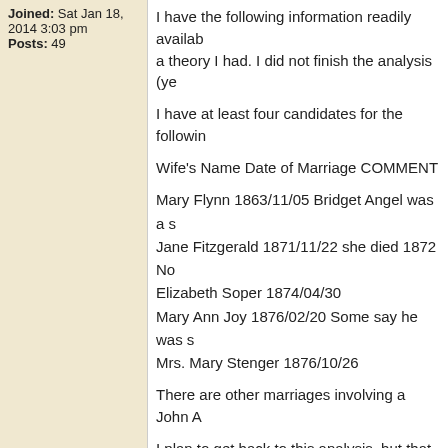Joined: Sat Jan 18, 2014 3:03 pm
Posts: 49
I have the following information readily available based on a theory I had. I did not finish the analysis (ye
I have at least four candidates for the followin
Wife's Name Date of Marriage COMMENT
Mary Flynn 1863/11/05 Bridget Angel was a s
Jane Fitzgerald 1871/11/22 she died 1872 No
Elizabeth Soper 1874/04/30
Mary Ann Joy 1876/02/20 Some say he was s
Mrs. Mary Stenger 1876/10/26
There are other marriages involving a John A
I plan to get back to this analysis, but that mig
I have been very active trying to sort out a few
I have found a lot of information about Samue on a document dated 1711, which proves he which was the year his will was proven in Cou
So your posting has prompted me to finish rev